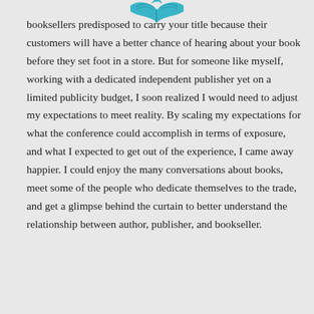[Figure (logo): A teal/blue open book logo at the top center of the page]
booksellers predisposed to carry your title because their customers will have a better chance of hearing about your book before they set foot in a store. But for someone like myself, working with a dedicated independent publisher yet on a limited publicity budget, I soon realized I would need to adjust my expectations to meet reality. By scaling my expectations for what the conference could accomplish in terms of exposure, and what I expected to get out of the experience, I came away happier. I could enjoy the many conversations about books, meet some of the people who dedicate themselves to the trade, and get a glimpse behind the curtain to better understand the relationship between author, publisher, and bookseller.